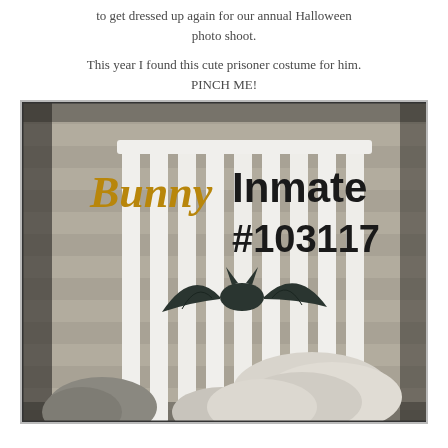to get dressed up again for our annual Halloween photo shoot.
This year I found this cute prisoner costume for him. PINCH ME!
[Figure (photo): A photo of a bunny in an inmate prisoner costume sitting on a white Adirondack chair outdoors. Text overlay reads 'Bunny Inmate #103117' with a bat silhouette visible on the chair. The bunny has fluffy white/grey fur visible at bottom.]